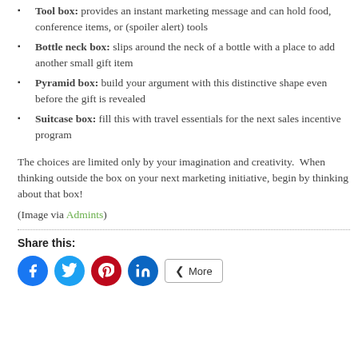Tool box:  provides an instant marketing message and can hold food, conference items, or (spoiler alert) tools
Bottle neck box:  slips around the neck of a bottle with a place to add another small gift item
Pyramid box:  build your argument with this distinctive shape even before the gift is revealed
Suitcase box:  fill this with travel essentials for the next sales incentive program
The choices are limited only by your imagination and creativity.  When thinking outside the box on your next marketing initiative, begin by thinking about that box!
(Image via Admints)
Share this: